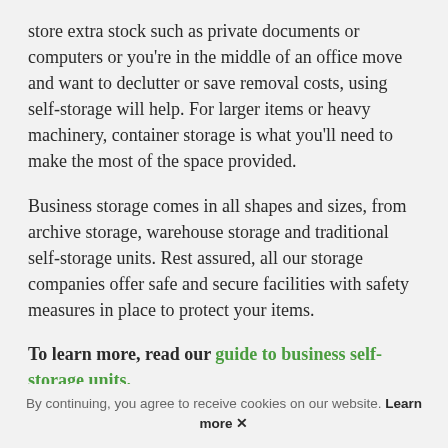store extra stock such as private documents or computers or you're in the middle of an office move and want to declutter or save removal costs, using self-storage will help. For larger items or heavy machinery, container storage is what you'll need to make the most of the space provided.
Business storage comes in all shapes and sizes, from archive storage, warehouse storage and traditional self-storage units. Rest assured, all our storage companies offer safe and secure facilities with safety measures in place to protect your items.
To learn more, read our guide to business self-storage units.
By continuing, you agree to receive cookies on our website. Learn more ✕